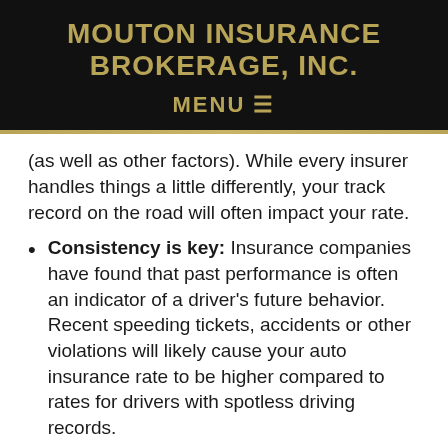MOUTON INSURANCE BROKERAGE, INC.
MENU ☰
(as well as other factors). While every insurer handles things a little differently, your track record on the road will often impact your rate.
Consistency is key: Insurance companies have found that past performance is often an indicator of a driver's future behavior. Recent speeding tickets, accidents or other violations will likely cause your auto insurance rate to be higher compared to rates for drivers with spotless driving records.